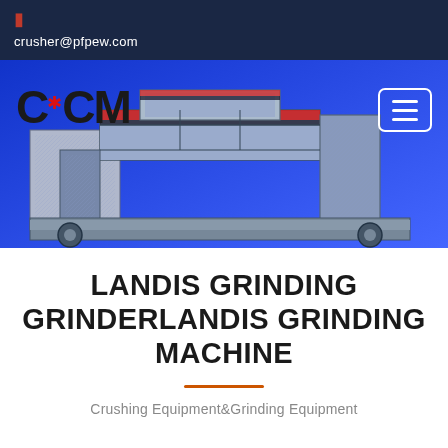crusher@pfpew.com
[Figure (photo): Blue industrial background with a large grinding/crushing machine rendered in 3D, with red and gray components. CCM logo on the left, hamburger menu button on the right.]
LANDIS GRINDING GRINDERLANDIS GRINDING MACHINE
Crushing Equipment&Grinding Equipment